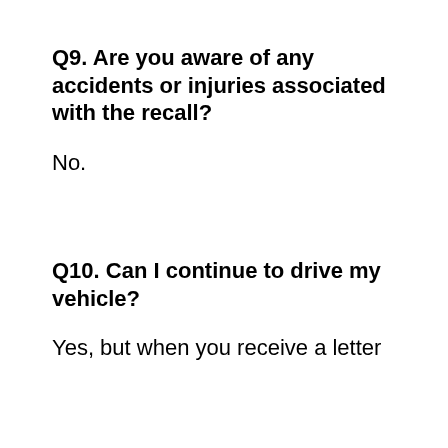Q9. Are you aware of any accidents or injuries associated with the recall?
No.
Q10. Can I continue to drive my vehicle?
Yes, but when you receive a letter